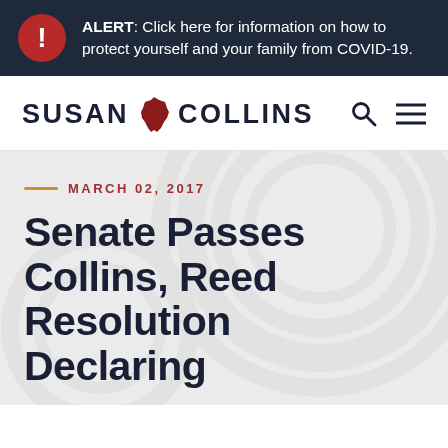ALERT: Click here for information on how to protect yourself and your family from COVID-19.
[Figure (logo): Susan Collins senator logo with Maine state outline and navigation icons (search, hamburger menu)]
MARCH 02, 2017
Senate Passes Collins, Reed Resolution Declaring